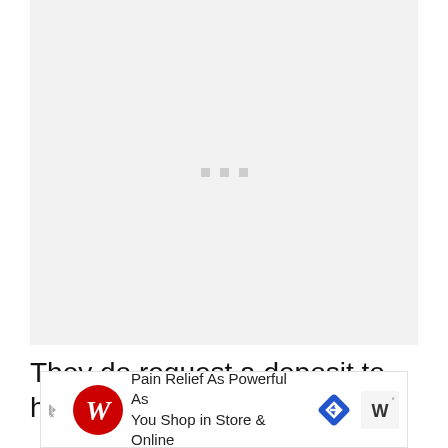[Figure (other): Loading placeholder with three small grey dots on a light grey background]
They do request a deposit to hold
[Figure (other): Advertisement banner: Walgreens ad reading 'Pain Relief As Powerful As You Shop in Store & Online' with Walgreens logo, navigation arrow icon, and Walmart/Wayfair icon]